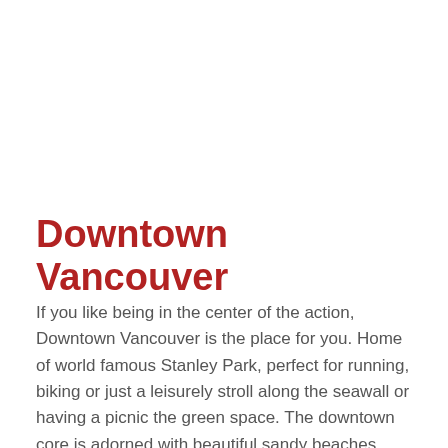Downtown Vancouver
If you like being in the center of the action, Downtown Vancouver is the place for you. Home of world famous Stanley Park, perfect for running, biking or just a leisurely stroll along the seawall or having a picnic the green space. The downtown core is adorned with beautiful sandy beaches, fabulous